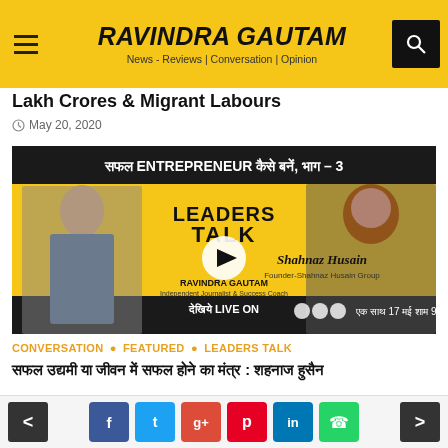RAVINDRA GAUTAM — News - Reviews | Conversation | Opinion
Lakh Crores & Migrant Labours
May 20, 2020
[Figure (screenshot): Video thumbnail for Leaders Talk with Ravindra Gautam featuring Shahnaz Husain. Text: सफल ENTREPRENEUR कैसे बनें, भाग - 3. LEADERS TALK with RAVINDRA GAUTAM, Independent Journalist & Success Coach. Shahnaz Husain, Founder-Shahnaz Husain Group. देखिये LIVE ON [Facebook, YouTube, Twitter icons] एक साथ 17 मई शाम 9 बजे]
CONVERSATION • FEATURED • LEADERS TALK
सफल उद्यमी या जीवन में सफल होने का मंत्र : शहनाज हुसैन
May 19, 2020